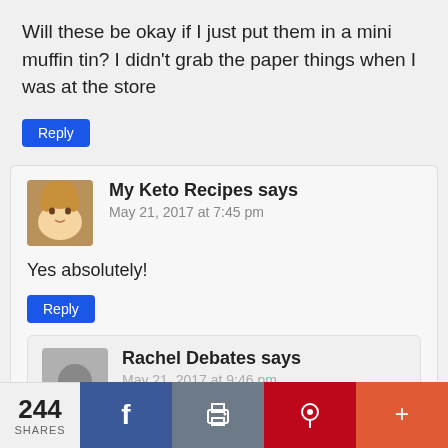Will these be okay if I just put them in a mini muffin tin? I didn't grab the paper things when I was at the store
Reply
My Keto Recipes says
May 21, 2017 at 7:45 pm
Yes absolutely!
Reply
Rachel Debates says
May 21, 2017 at 9:46 pm
244 SHARES